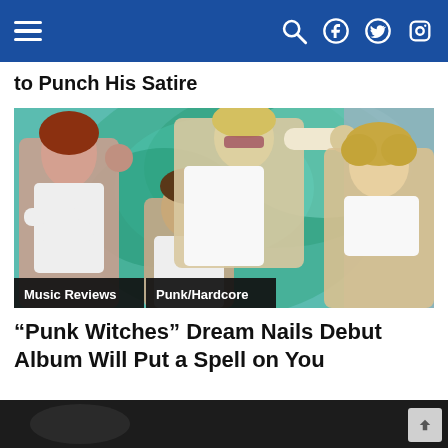Navigation bar with hamburger menu, search, Facebook, Twitter, Instagram icons
to Punch His Satire
[Figure (photo): Band photo of Dream Nails: four members in white clothing posing against a colorful teal/green swirl background, with category tags 'Music Reviews' and 'Punk/Hardcore' overlaid at bottom left.]
“Punk Witches” Dream Nails Debut Album Will Put a Spell on You
[Figure (photo): Partial view of a second article image, dark/black, shown at the bottom of the page.]